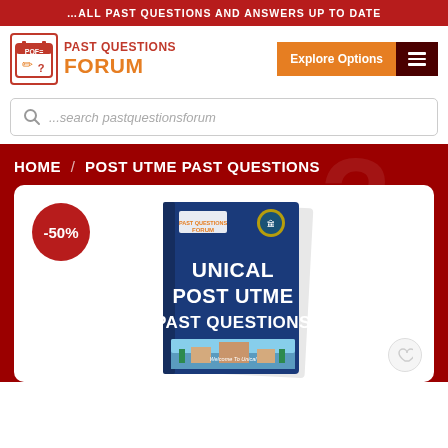…ALL PAST QUESTIONS AND ANSWERS UP TO DATE
[Figure (logo): Past Questions Forum logo with PQF icon and text]
Explore Options
…search pastquestionsforum
HOME / POST UTME PAST QUESTIONS
[Figure (photo): Book cover for UNICAL POST UTME PAST QUESTIONS with -50% discount badge]